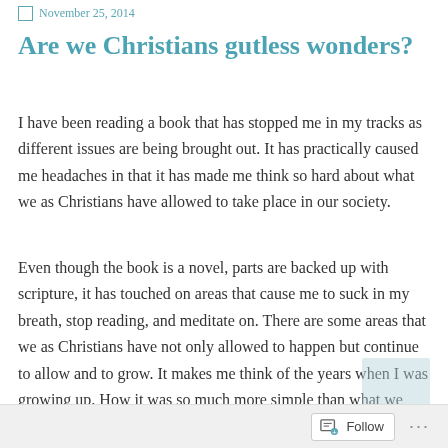November 25, 2014
Are we Christians gutless wonders?
I have been reading a book that has stopped me in my tracks as different issues are being brought out. It has practically caused me headaches in that it has made me think so hard about what we as Christians have allowed to take place in our society.
Even though the book is a novel, parts are backed up with scripture, it has touched on areas that cause me to suck in my breath, stop reading, and meditate on. There are some areas that we as Christians have not only allowed to happen but continue to allow and to grow. It makes me think of the years when I was growing up. How it was so much more simple than what we adults face today and what our children face and will
Follow ...